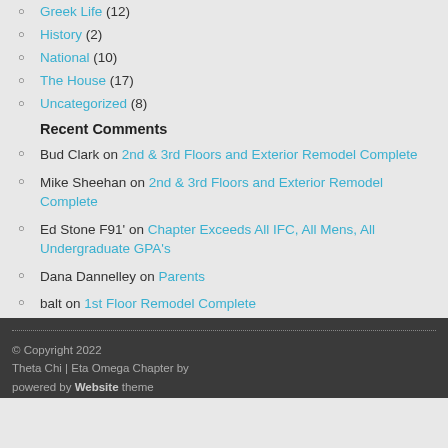Greek Life (12)
History (2)
National (10)
The House (17)
Uncategorized (8)
Recent Comments
Bud Clark on 2nd & 3rd Floors and Exterior Remodel Complete
Mike Sheehan on 2nd & 3rd Floors and Exterior Remodel Complete
Ed Stone F91' on Chapter Exceeds All IFC, All Mens, All Undergraduate GPA's
Dana Dannelley on Parents
balt on 1st Floor Remodel Complete
© Copyright 2022
Theta Chi | Eta Omega Chapter by
powered by Website theme